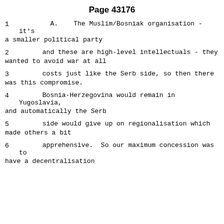Page 43176
1   A.   The Muslim/Bosniak organisation - it's a smaller political party
2   and these are high-level intellectuals - they wanted to avoid war at all
3   costs just like the Serb side, so then there was this compromise.
4   Bosnia-Herzegovina would remain in Yugoslavia, and automatically the Serb
5   side would give up on regionalisation which made others a bit
6   apprehensive.  So our maximum concession was to have a decentralisation